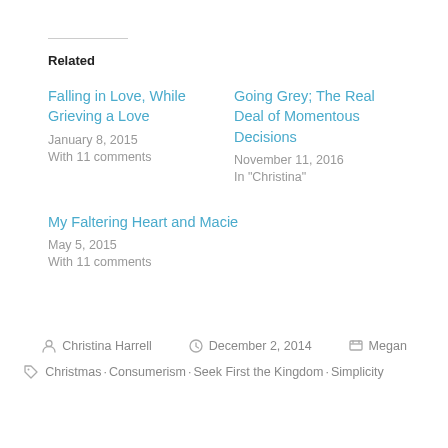Related
Falling in Love, While Grieving a Love
January 8, 2015
With 11 comments
Going Grey; The Real Deal of Momentous Decisions
November 11, 2016
In "Christina"
My Faltering Heart and Macie
May 5, 2015
With 11 comments
Christina Harrell  December 2, 2014  Megan
Christmas, Consumerism, Seek First the Kingdom, Simplicity